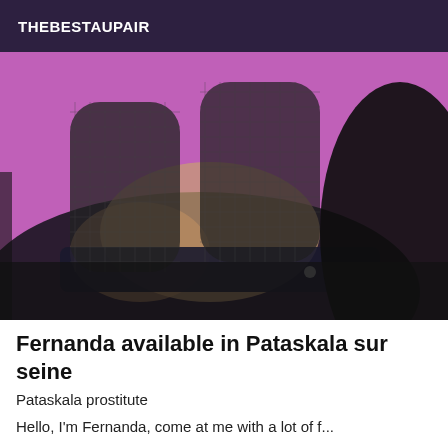THEBESTAUPAIR
[Figure (photo): Close-up photo of a person wearing fishnet stockings and dark lingerie against a pink/magenta background]
Fernanda available in Pataskala sur seine
Pataskala prostitute
Hello, I'm Fernanda, come at me with a lot of f...